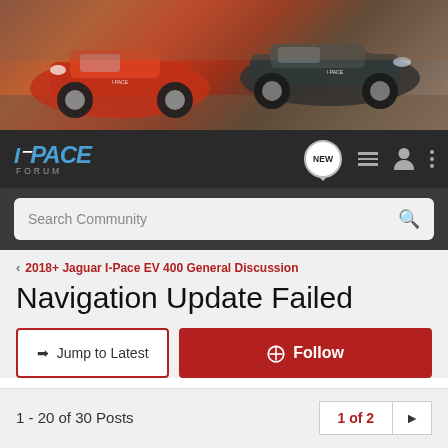[Figure (photo): Banner image showing two Jaguar I-Pace electric vehicles driving on a road, one red and one dark grey/black]
I-PACE FORUM — navigation bar with NEW button, list icon, user icon, and more options icon
Search Community
< 2018+ Jaguar I-Pace EV 400 General Discussion
Navigation Update Failed
→ Jump to Latest
+ Follow
1 - 20 of 30 Posts
1 of 2 ▶
brian.online@outlook.com · Registered